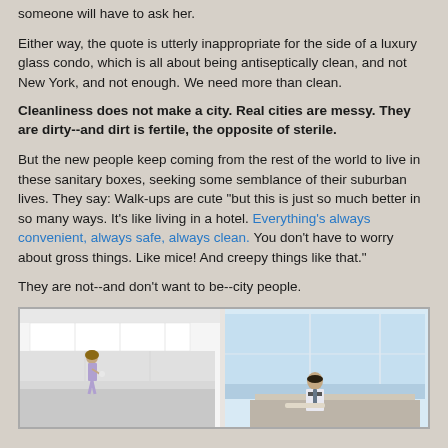someone will have to ask her.
Either way, the quote is utterly inappropriate for the side of a luxury glass condo, which is all about being antiseptically clean, and not New York, and not enough. We need more than clean.
Cleanliness does not make a city. Real cities are messy. They are dirty--and dirt is fertile, the opposite of sterile.
But the new people keep coming from the rest of the world to live in these sanitary boxes, seeking some semblance of their suburban lives. They say: Walk-ups are cute "but this is just so much better in so many ways. It's like living in a hotel. Everything's always convenient, always safe, always clean. You don't have to worry about gross things. Like mice! And creepy things like that."
They are not--and don't want to be--city people.
[Figure (photo): Interior photo of a modern luxury condo showing a bright white kitchen area on the left with a woman standing near the counter, and a man in a suit sitting at a desk on the right near large floor-to-ceiling windows with a city/water view.]